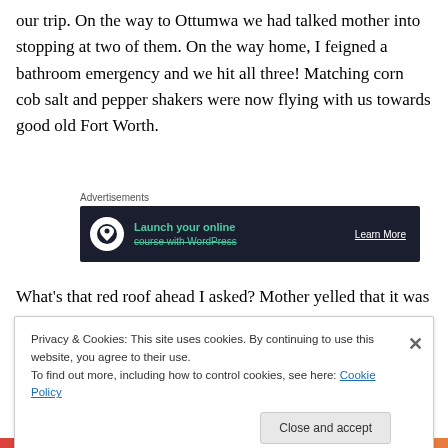our trip. On the way to Ottumwa we had talked mother into stopping at two of them. On the way home, I feigned a bathroom emergency and we hit all three! Matching corn cob salt and pepper shakers were now flying with us towards good old Fort Worth.
[Figure (screenshot): Advertisement banner with dark background showing 'Launch your online course with WordPress' with a tree icon and 'Learn More' button]
What's that red roof ahead I asked? Mother yelled that it was Nickerson's Farm and NO we were not stopping! It
Privacy & Cookies: This site uses cookies. By continuing to use this website, you agree to their use.
To find out more, including how to control cookies, see here: Cookie Policy
Close and accept